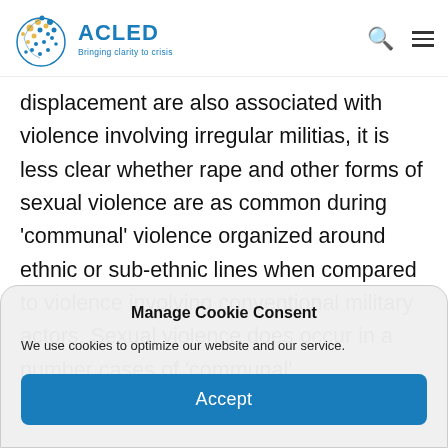ACLED – Bringing clarity to crisis
displacement are also associated with violence involving irregular militias, it is less clear whether rape and other forms of sexual violence are as common during 'communal' violence organized around ethnic or sub-ethnic lines when compared to violence involving conventional military actors. Sexual violence does occur in a number cases of 'communal'
Manage Cookie Consent
We use cookies to optimize our website and our service.
Accept